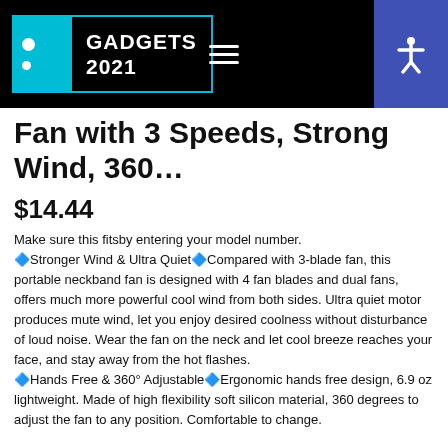GADGETS 2021
Fan with 3 Speeds, Strong Wind, 360…
$14.44
Make sure this fitsby entering your model number. 🔷Stronger Wind & Ultra Quiet🔷Compared with 3-blade fan, this portable neckband fan is designed with 4 fan blades and dual fans, offers much more powerful cool wind from both sides. Ultra quiet motor produces mute wind, let you enjoy desired coolness without disturbance of loud noise. Wear the fan on the neck and let cool breeze reaches your face, and stay away from the hot flashes. 🔷Hands Free & 360° Adjustable🔷Ergonomic hands free design, 6.9 oz lightweight. Made of high flexibility soft silicon material, 360 degrees to adjust the fan to any position. Comfortable to change.